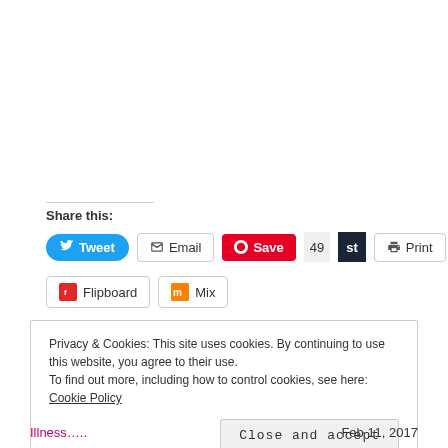Share this:
Tweet  Email  Save  49  st  Print
Flipboard  Mix
Privacy & Cookies: This site uses cookies. By continuing to use this website, you agree to their use. To find out more, including how to control cookies, see here: Cookie Policy
Close and accept
Illness…..  Feb 11, 2017